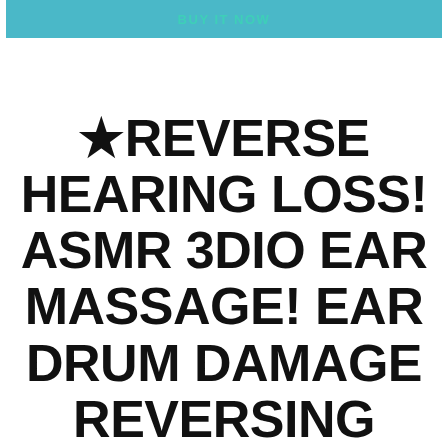[Figure (other): A teal/blue button with text 'BUY IT NOW' in teal lettering]
★REVERSE HEARING LOSS! ASMR 3DIO EAR MASSAGE! EAR DRUM DAMAGE REVERSING *IMPROVE HEARING* FORMULA★ QUADIBLE INTEGRITY